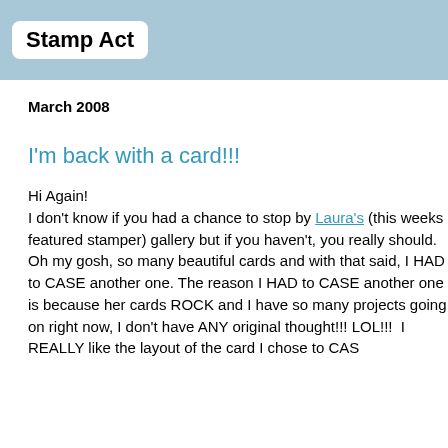Stamp Act
March 2008
I'm back with a card!!!
Hi Again!
I don't know if you had a chance to stop by Laura's (this weeks featured stamper) gallery but if you haven't, you really should.  Oh my gosh, so many beautiful cards and with that said, I HAD to CASE another one. The reason I HAD to CASE another one is because her cards ROCK and I have so many projects going on right now, I don't have ANY original thought!!! LOL!!!  I REALLY like the layout of the card I chose to CAS